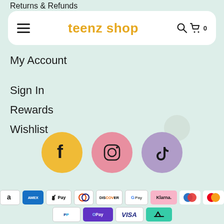Returns & Refunds
[Figure (screenshot): Teenz Shop navigation bar with hamburger menu, brand name in gold, search icon and cart with 0]
My Account
Sign In
Rewards
Wishlist
[Figure (infographic): Three social media icon circles: Facebook (gold), Instagram (pink), TikTok (purple)]
[Figure (infographic): Payment method badges: Amazon, Amex, Apple Pay, Diners, Discover, Google Pay, Klarna, Maestro, Mastercard, PayPal, OPay, Visa, Afterpay]